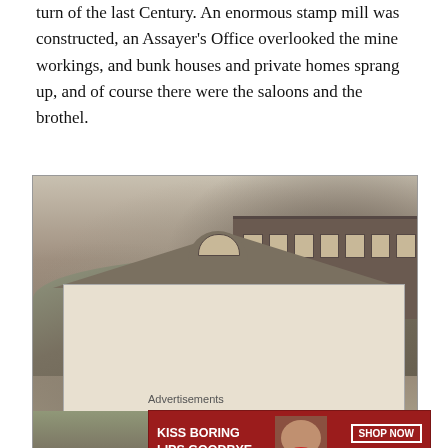turn of the last Century. An enormous stamp mill was constructed, an Assayer's Office overlooked the mine workings, and bunk houses and private homes sprang up, and of course there were the saloons and the brothel.
[Figure (photo): Black and white historical photograph showing a large multi-story building on a hillside behind a white single-story house with a porch and dormer window. Trees visible in background.]
Advertisements
[Figure (infographic): Advertisement banner with red background. Left side shows bold white text 'KISS BORING LIPS GOODBYE'. Center shows a woman's face with red lips. Right side shows 'SHOP NOW' button and Macy's logo with star.]